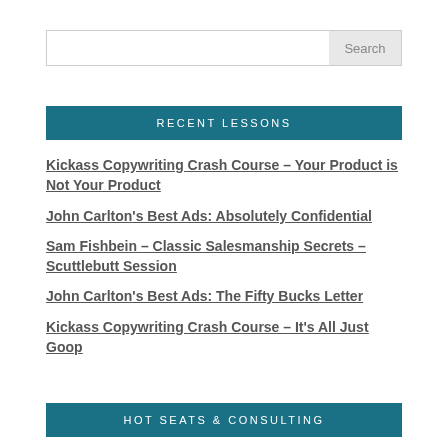Search
RECENT LESSONS
Kickass Copywriting Crash Course – Your Product is Not Your Product
John Carlton's Best Ads: Absolutely Confidential
Sam Fishbein – Classic Salesmanship Secrets – Scuttlebutt Session
John Carlton's Best Ads: The Fifty Bucks Letter
Kickass Copywriting Crash Course – It's All Just Goop
HOT SEATS & CONSULTING